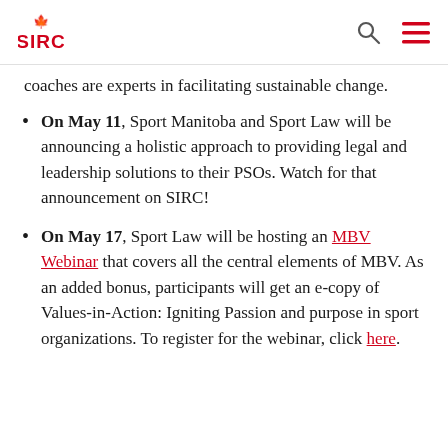SIRC
coaches are experts in facilitating sustainable change.
On May 11, Sport Manitoba and Sport Law will be announcing a holistic approach to providing legal and leadership solutions to their PSOs. Watch for that announcement on SIRC!
On May 17, Sport Law will be hosting an MBV Webinar that covers all the central elements of MBV. As an added bonus, participants will get an e-copy of Values-in-Action: Igniting Passion and purpose in sport organizations. To register for the webinar, click here.